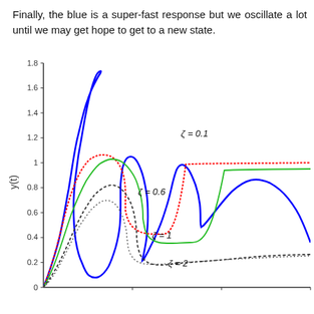Finally, the blue is a super-fast response but we oscillate a lot until we may get hope to get to a new state.
[Figure (continuous-plot): Step response curves for a second-order system with different damping ratios (zeta = 0.1 blue oscillating, zeta = 0.6 red dotted, zeta = 1 green, zeta = 2 black dotted). Y-axis labeled y(t) ranging from 0 to 1.8. X-axis is time (unlabeled). Multiple curves showing underdamped, critically damped and overdamped responses.]